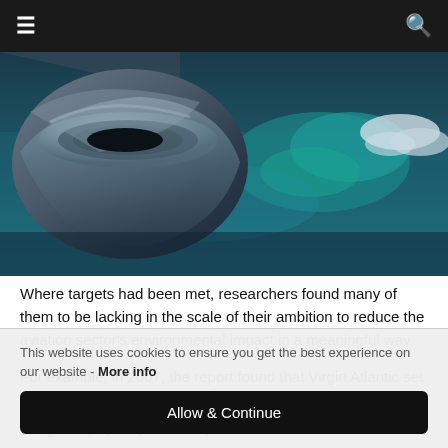☰  🔍
[Figure (photo): Close-up view of an airplane engine nacelle in flight, with turquoise ocean coastline and clouds visible below through the aircraft window.]
Where targets had been met, researchers found many of them to be lacking in the scale of their ambition to reduce the aviation sector's environmental impact in a meaningful way.
For example, in 2007, the report found that Virgin Atlantic set a target to reduce its CO2 per revenue tonne kilometre (CO2/RTK) by 30 per cent by 2020.
In a 2014 sustainability report, the airline had achieved an 8 per
This website uses cookies to ensure you get the best experience on our website - More info
Allow & Continue